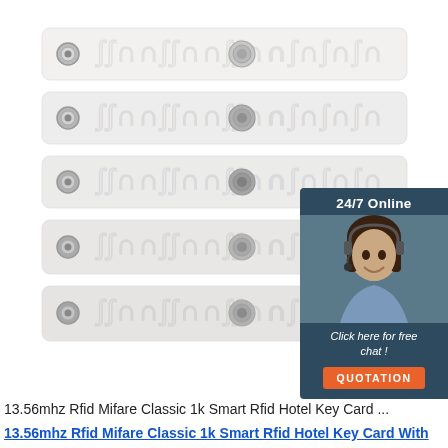[Figure (photo): Five white RFID laundry tags/strips stacked vertically, each with a metal eyelet on the left and a circular RFID chip in the center. An overlay chat widget in the top-right shows a customer service representative, '24/7 Online' text, 'Click here for free chat!' and an orange 'QUOTATION' button.]
13.56mhz Rfid Mifare Classic 1k Smart Rfid Hotel Key Card ...
13.56mhz Rfid Mifare Classic 1k Smart Rfid Hotel Key Card With